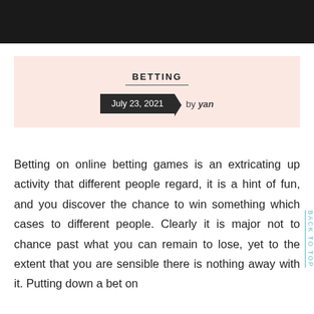BETTING
July 23, 2021  by yan
Betting on online betting games is an extricating up activity that different people regard, it is a hint of fun, and you discover the chance to win something which cases to different people. Clearly it is major not to chance past what you can remain to lose, yet to the extent that you are sensible there is nothing away with it. Putting down a bet on